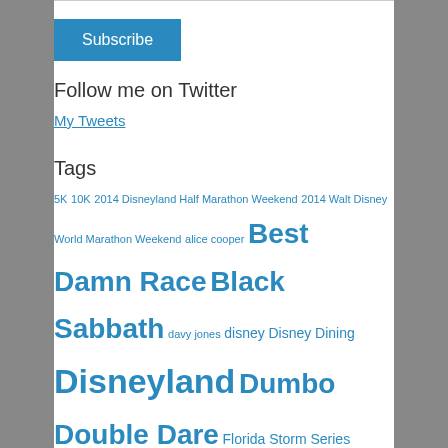[Figure (other): Blue Subscribe button]
Follow me on Twitter
My Tweets
Tags
5K 10K 2014 Disneyland Half Marathon Weekend 2014 Walt Disney World Marathon Weekend alice cooper Best Damn Race Black Sabbath davy jones disney Disney Dining Disneyland Dumbo Double Dare Florida Storm Series Friends in Training george harrison George Martin Half Marathon Halloween iron maiden Jeff Galloway Jethro Tull john lennon Kiss Led Zeppelin linda mccartney Marathon metallica Miami Beach Halloween Half Marathon Micky Dolenz Paul McCartney